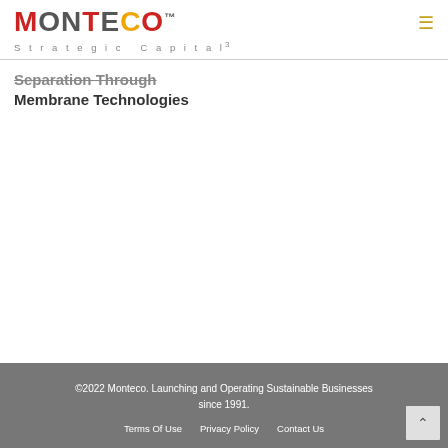[Figure (logo): Monteco Strategic Capital logo with red and gray MONTECO text and orange C, TM superscript, tagline 'Strategic Capital' with superscript 3]
Separation Through Membrane Technologies
©2022 Monteco. Launching and Operating Sustainable Businesses since 1991.
Terms Of Use   Privacy Policy   Contact Us